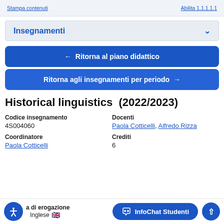Stampa contenuti   Abilita 1.1.1.1.1
Insegnamenti
← Ritorna al piano didattico
Ritorna agli insegnamenti per periodo →
Historical linguistics (2022/2023)
Codice insegnamento
4S004060

Docenti
Paola Cotticelli, Alfredo Rizza
Coordinatore
Paola Cotticelli

Crediti
6
Modalità di erogazione
Inglese 🇬🇧
InfoChat Studenti